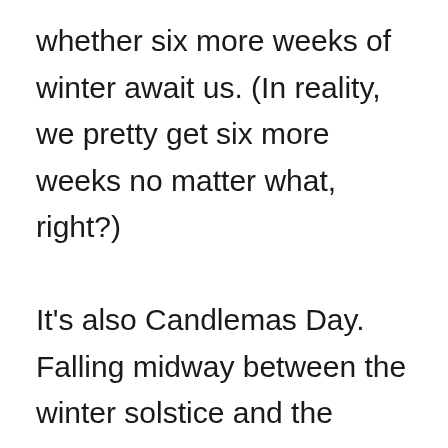whether six more weeks of winter await us. (In reality, we pretty get six more weeks no matter what, right?)

It's also Candlemas Day. Falling midway between the winter solstice and the spring equinox, Candlemas historically was a day to bring candles to church to be blessed, drawing upon Simeon's statement that Jesus is a “light to reveal” God to the nations. In some traditions a great bonfire was made with Christmas trees on this day, signaling the end of the Christmas season. As a sign of new beginnings, many commit to new goals on Candlemas. In some parts of the world, Candlemas is associated with the